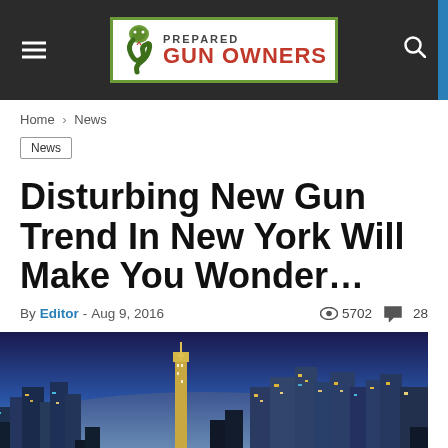Prepared Gun Owners
Home > News
News
Disturbing New Gun Trend In New York Will Make You Wonder…
By Editor - Aug 9, 2016  👁 5702  💬 28
[Figure (photo): New York City skyline at night/dusk with illuminated skyscrapers against a blue sky]